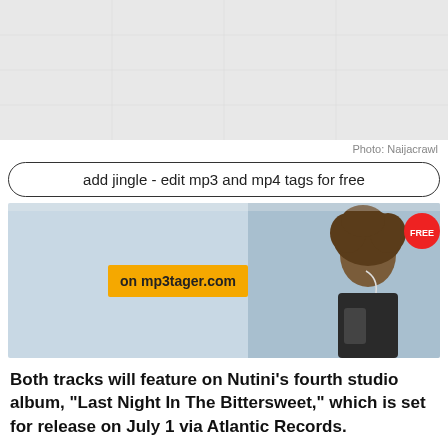[Figure (photo): Gray placeholder image area at top of page, appears to be a partially visible photo]
Photo: Naijacrawl
add jingle - edit mp3 and mp4 tags for free
[Figure (photo): Advertisement banner for mp3tager.com showing a woman with headphones, yellow label reading 'on mp3tager.com', and a red FREE badge]
Both tracks will feature on Nutini's fourth studio album, "Last Night In The Bittersweet," which is set for release on July 1 via Atlantic Records.
Read Also : Billie Eilish Has Released A Two-Track Collection Called 'Guitar Songs' Featuring 'TV' And 'The 30th'